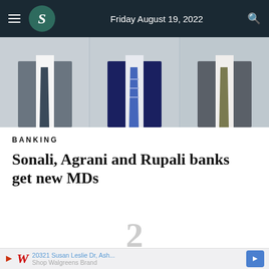Friday August 19, 2022
[Figure (photo): Three men in suits and ties shown from chest level, cropped photograph]
BANKING
Sonali, Agrani and Rupali banks get new MDs
2
[Figure (other): Scroll down arrow button, grey circle with chevron]
20321 Susan Leslie Dr, Ash... Shop Walgreens Brand